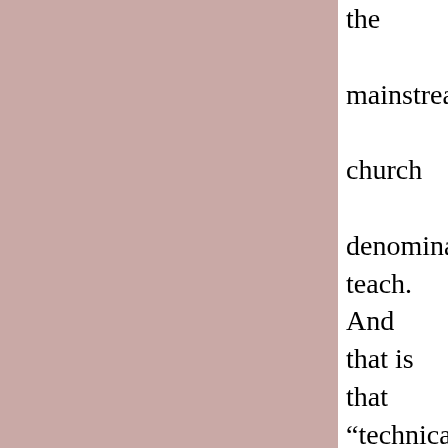the mainstream church denominatio teach. And that is that “technically” those of the tribe of Judah are the men of Judah who are called Jews. And